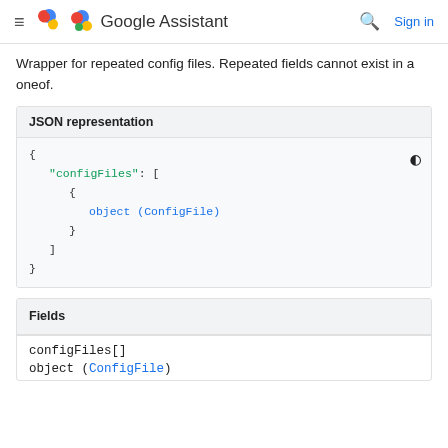Google Assistant — Sign in
Wrapper for repeated config files. Repeated fields cannot exist in a oneof.
JSON representation
[Figure (screenshot): JSON code block showing: { "configFiles": [ { object (ConfigFile) } ] }]
Fields
configFiles[]
object (ConfigFile)